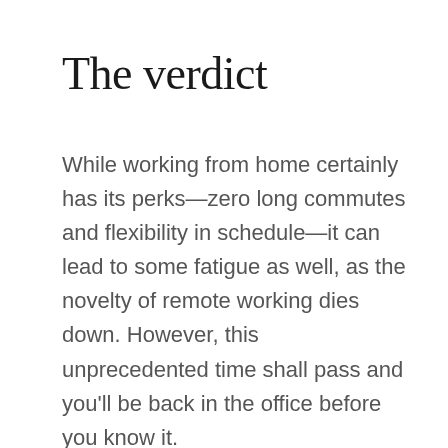The verdict
While working from home certainly has its perks—zero long commutes and flexibility in schedule—it can lead to some fatigue as well, as the novelty of remote working dies down. However, this unprecedented time shall pass and you'll be back in the office before you know it.